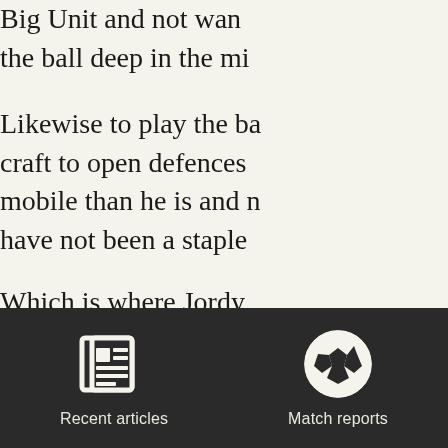Big Unit and not wan… the ball deep in the mi…
Likewise to play the ba… craft to open defences … mobile than he is and n… have not been a staple …
Which is where Jordy … present options that ar… unknown.
[Figure (screenshot): App navigation footer bar with two icons: 'Recent articles' (newspaper icon) and 'Match reports' (soccer ball icon) on dark background]